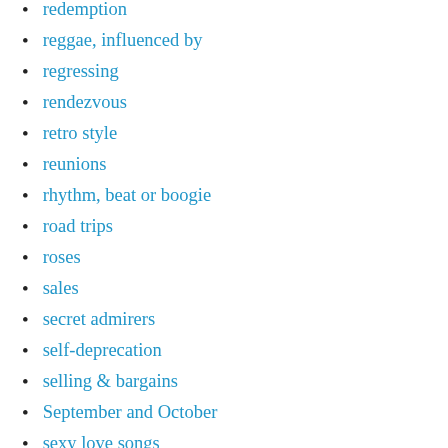redemption
reggae, influenced by
regressing
rendezvous
retro style
reunions
rhythm, beat or boogie
road trips
roses
sales
secret admirers
self-deprecation
selling & bargains
September and October
sexy love songs
Shakespeare, quoting
shooting